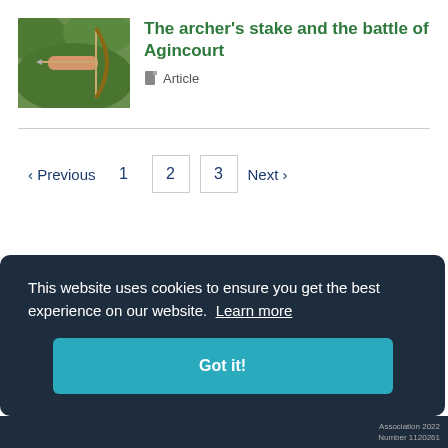[Figure (photo): Photo of a person drawing a bow and arrow with green foliage in the background]
The archer's stake and the battle of Agincourt
Article
‹ Previous  1  2  3  Next ›
This website uses cookies to ensure you get the best experience on our website.  Learn more
Got it!
Association 2022
Number 1120261